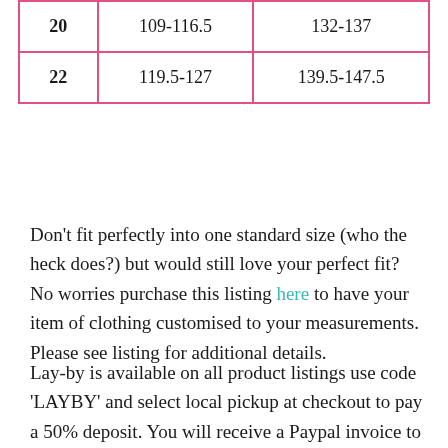| 20 | 109-116.5 | 132-137 |
| 22 | 119.5-127 | 139.5-147.5 |
Don't fit perfectly into one standard size (who the heck does?) but would still love your perfect fit? No worries purchase this listing here to have your item of clothing customised to your measurements. Please see listing for additional details.
Lay-by is available on all product listings use code 'LAYBY' and select local pickup at checkout to pay a 50% deposit. You will receive a Paypal invoice to the email used at checkout for the balance of your order + shipping. NO WORK